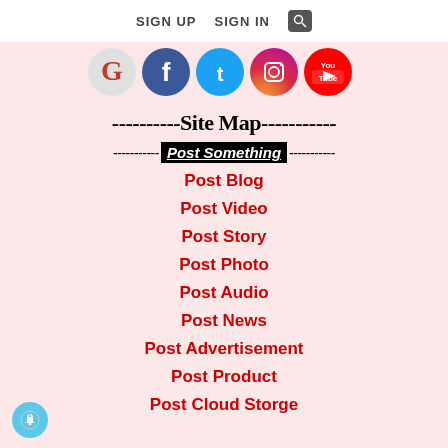SIGN UP   SIGN IN  🔍
[Figure (illustration): Social media icons row: G (Google+), Facebook, Twitter, Instagram, YouTube]
----------Site Map-----------
Post Something
Post Blog
Post Video
Post Story
Post Photo
Post Audio
Post News
Post Advertisement
Post Product
Post Cloud Storge